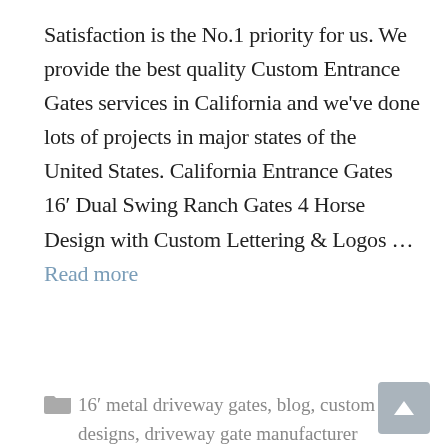Satisfaction is the No.1 priority for us. We provide the best quality Custom Entrance Gates services in California and we've done lots of projects in major states of the United States. California Entrance Gates 16′ Dual Swing Ranch Gates 4 Horse Design with Custom Lettering & Logos … Read more
16′ metal driveway gates, blog, custom gate designs, driveway gate manufacturer
custom gates